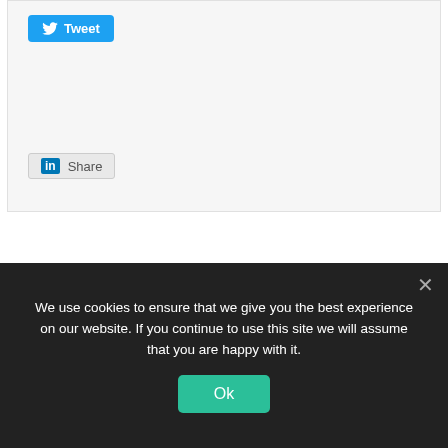[Figure (screenshot): Social share buttons: Twitter Tweet button (blue) and LinkedIn Share button (gray), inside a light gray box]
← Ada Lovelace Day 2011 begins in Kiribati
FindingAda.com undergoing rescue →
We use cookies to ensure that we give you the best experience on our website. If you continue to use this site we will assume that you are happy with it.
Ok